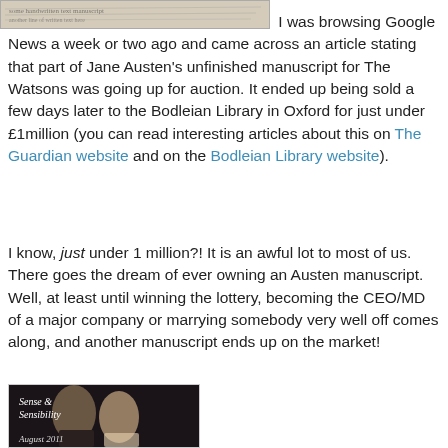[Figure (photo): Partial image of Jane Austen's handwritten manuscript]
I was browsing Google News a week or two ago and came across an article stating that part of Jane Austen's unfinished manuscript for The Watsons was going up for auction. It ended up being sold a few days later to the Bodleian Library in Oxford for just under £1million (you can read interesting articles about this on The Guardian website and on the Bodleian Library website).
I know, just under 1 million?! It is an awful lot to most of us. There goes the dream of ever owning an Austen manuscript. Well, at least until winning the lottery, becoming the CEO/MD of a major company or marrying somebody very well off comes along, and another manuscript ends up on the market!
[Figure (photo): Book cover image for Sense & Sensibility, August 2011, showing two women in period dress]